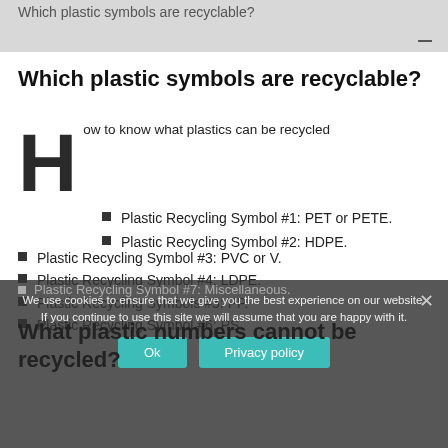Which plastic symbols are recyclable?
Which plastic symbols are recyclable?
How to know what plastics can be recycled
Plastic Recycling Symbol #1: PET or PETE.
Plastic Recycling Symbol #2: HDPE.
Plastic Recycling Symbol #3: PVC or V.
Plastic Recycling Symbol #4: LDPE.
Plastic Recycling Symbols #5: PP.
Plastic Recycling Symbol #6: PS.
Plastic Recycling Symbol #7: Miscellaneous.
We use cookies to ensure that we give you the best experience on our website. If you continue to use this site we will assume that you are happy with it.
What plastic numbers cannot be recycled?